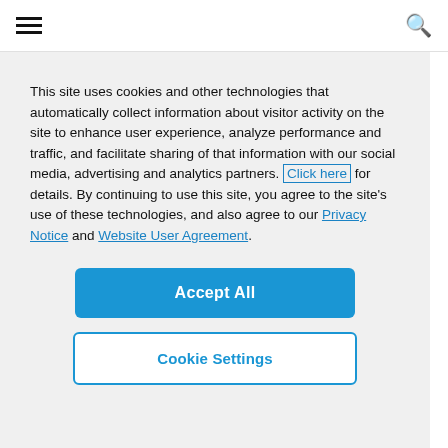hamburger menu | search icon
This site uses cookies and other technologies that automatically collect information about visitor activity on the site to enhance user experience, analyze performance and traffic, and facilitate sharing of that information with our social media, advertising and analytics partners. Click here for details. By continuing to use this site, you agree to the site's use of these technologies, and also agree to our Privacy Notice and Website User Agreement.
Accept All
Cookie Settings